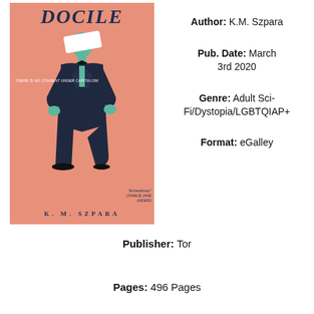[Figure (illustration): Book cover of DOCILE by K.M. Szpara. Pink/salmon background with a man in a dark suit kneeling/crouching, his face obscured by a white diagonal shape. Text on cover: 'DOCILE', 'THERE IS NO CONSENT UNDER CAPITALISM', 'Extraordinary - Charlie Jane Anders', 'K. M. SZPARA']
Title: DOCILE
Author: K.M. Szpara
Pub. Date: March 3rd 2020
Genre: Adult Sci-Fi/Dystopia/LGBTQIAP+
Format: eGalley
Publisher: Tor
Pages: 496 Pages